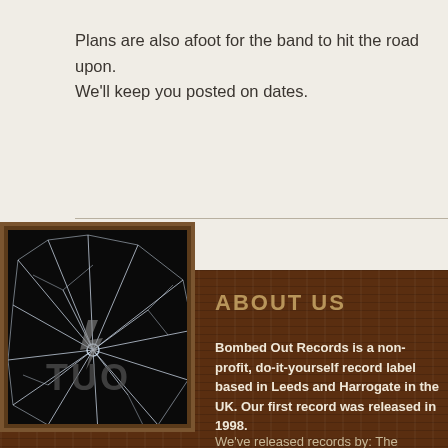Plans are also afoot for the band to hit the road upon. We'll keep you posted on dates.
[Figure (photo): Album art with cracked glass effect on dark background showing 'OUT' text, framed in brown wood]
ABOUT US
Bombed Out Records is a non-profit, do-it-yourself record label based in Leeds and Harrogate in the UK. Our first record was released in 1998.
We've released records by: The Amistad, Block...